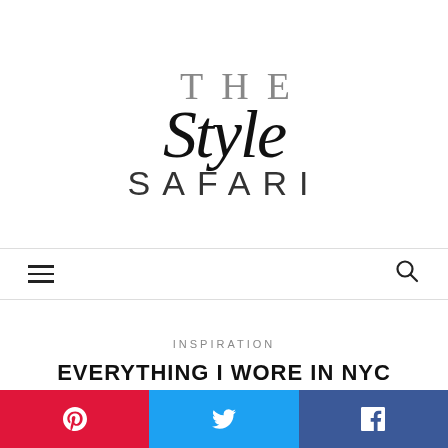[Figure (logo): The Style Safari blog logo: 'THE' in thin spaced uppercase serif, 'Style' in large script/italic font, 'SAFARI' in thin spaced uppercase sans-serif]
[Figure (other): Navigation bar with hamburger menu icon on the left and search magnifier icon on the right]
INSPIRATION
EVERYTHING I WORE IN NYC
[Figure (other): Social share buttons row: Pinterest (red), Twitter (blue), Facebook (dark blue)]